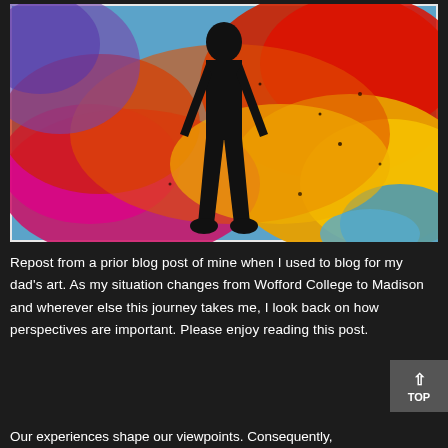[Figure (illustration): Abstract colorful painting with a black silhouette of a standing person in the center. Background is splashed with vibrant reds, yellows, oranges, blues, and purples in an expressive style.]
Repost from a prior blog post of mine when I used to blog for my dad's art. As my situation changes from Wofford College to Madison and wherever else this journey takes me, I look back on how perspectives are important. Please enjoy reading this post.
Our experiences shape our viewpoints. Consequently,